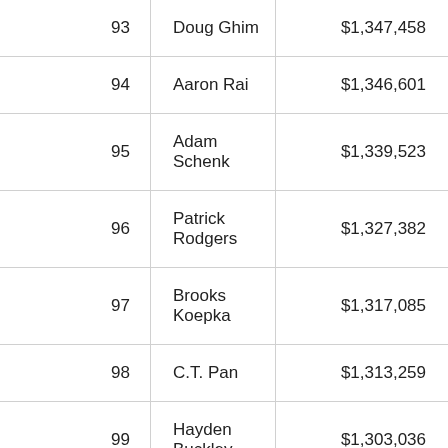| Rank | Name | Earnings |
| --- | --- | --- |
| 93 | Doug Ghim | $1,347,458 |
| 94 | Aaron Rai | $1,346,601 |
| 95 | Adam Schenk | $1,339,523 |
| 96 | Patrick Rodgers | $1,327,382 |
| 97 | Brooks Koepka | $1,317,085 |
| 98 | C.T. Pan | $1,313,259 |
| 99 | Hayden Buckley | $1,303,036 |
| 100 | Stephan Jaeger | $1,289,503 |
| 101 | Peter Malnati | $1,288,197 |